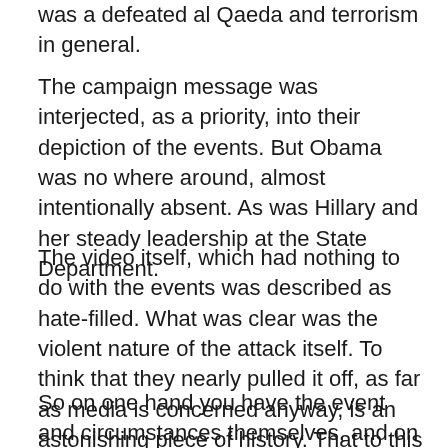was a defeated al Qaeda and terrorism in general.
The campaign message was interjected, as a priority, into their depiction of the events. But Obama was no where around, almost intentionally absent. As was Hillary and her steady leadership at the State Department.
The video itself, which had nothing to do with the events was described as hate-filled. What was clear was the violent nature of the attack itself. To think that they nearly pulled it off, as far as media is concerned anyway, is an astonishing piece of history. That to this day they still give the president default plausible deniability for it is equally troubling.
So on one hand you have the event and circumstances themselves, and on the other you have the media disintegration around the major story of the year. But then